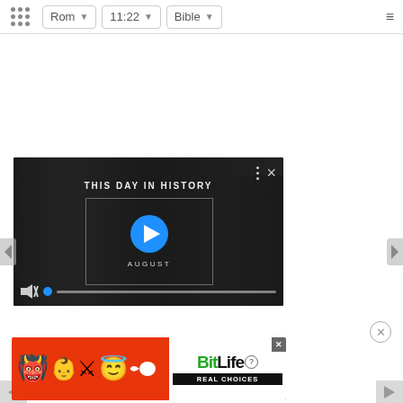⠿ Rom ▾  11:22 ▾  Bible ▾  ≡
[Figure (screenshot): Video player showing 'THIS DAY IN HISTORY' with a play button, August label, mute icon, and progress bar on a dark background with people visible]
[Figure (screenshot): BitLife advertisement banner with emoji characters (devil, person, angel, sperm) on red background with BitLife logo and 'REAL CHOICES' text]